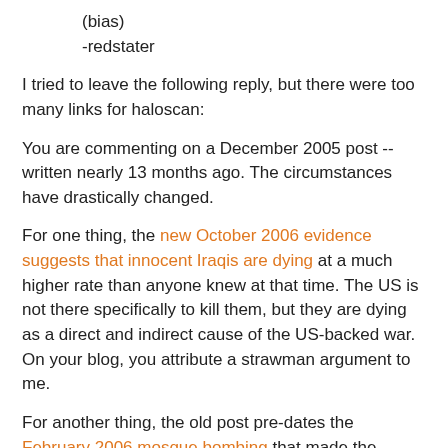(bias)
-redstater
I tried to leave the following reply, but there were too many links for haloscan:
You are commenting on a December 2005 post -- written nearly 13 months ago. The circumstances have drastically changed.
For one thing, the new October 2006 evidence suggests that innocent Iraqis are dying at a much higher rate than anyone knew at that time. The US is not there specifically to kill them, but they are dying as a direct and indirect cause of the US-backed war. On your blog, you attribute a strawman argument to me.
For another thing, the old post pre-dates the February 2006 mosque bombing that made the conflict much more of a sectarian civil war.
More-and-more, Iraq already looks like a failed state. The US